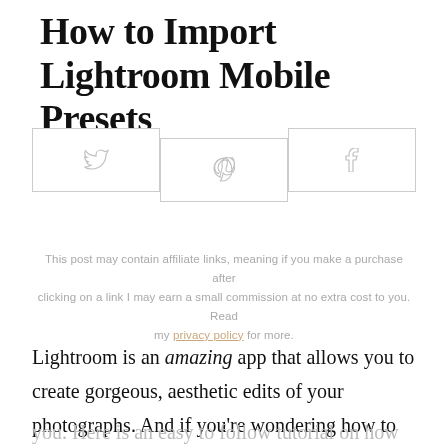How to Import Lightroom Mobile Presets
[Figure (other): Three social sharing buttons in a row: Twitter (bird icon), Pinterest (P icon), Facebook (f icon), all outlined with light gray borders]
This post may contain affiliate links, meaning if you make a purchase after clicking on a link I may earn a small commission at no extra cost to you. Read my privacy policy for more.
Lightroom is an amazing app that allows you to create gorgeous, aesthetic edits of your photographs. And if you're wondering how to upload presets on Lightroom Mobile, your girl got you. Here is an easy to follow tutorial on how to import Lightroom Mobile presets.